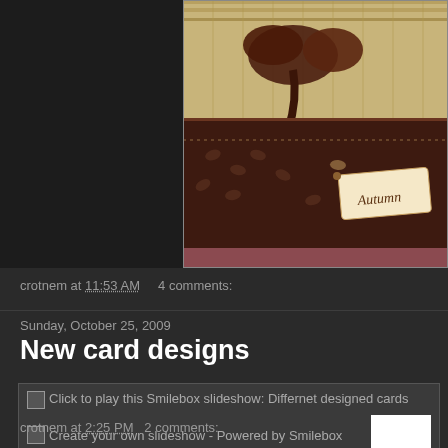[Figure (photo): Autumn-themed handmade card with dark brown floral patterned paper, ribbon bow, and a tag that reads 'Autumn'. Upper portion shows striped/plaid cream and gold paper.]
crotnem at 11:53 AM    4 comments:
Sunday, October 25, 2009
New card designs
[Figure (screenshot): Smilebox slideshow embed with two broken image links: 'Click to play this Smilebox slideshow: Differnet designed cards' and 'Create your own slideshow - Powered by Smilebox', with a white button bar reading 'Make a Smilebox slideshow']
crotnem at 2:25 PM    2 comments: